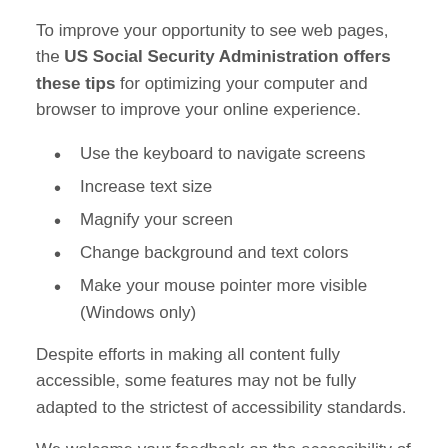To improve your opportunity to see web pages, the US Social Security Administration offers these tips for optimizing your computer and browser to improve your online experience.
Use the keyboard to navigate screens
Increase text size
Magnify your screen
Change background and text colors
Make your mouse pointer more visible (Windows only)
Despite efforts in making all content fully accessible, some features may not be fully adapted to the strictest of accessibility standards.
We welcome your feedback on the accessibility of